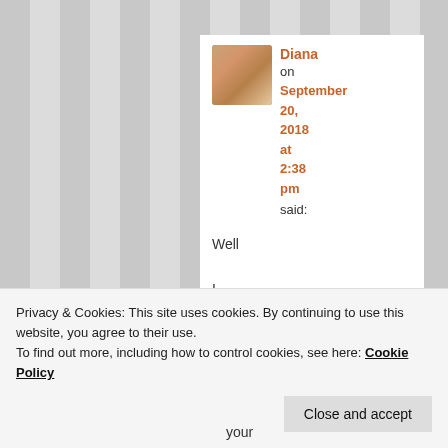Diana on September 20, 2018 at 2:38 pm said:
Well I have
Privacy & Cookies: This site uses cookies. By continuing to use this website, you agree to their use. To find out more, including how to control cookies, see here: Cookie Policy
Close and accept
your